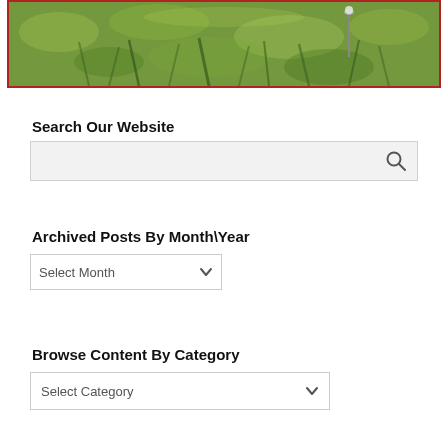[Figure (photo): A close-up photo of green grass with a golf tee or similar object visible, bordered in dark red/maroon.]
Search Our Website
[Figure (screenshot): A search input box with a magnifying glass search icon on the right side, light gray background.]
Archived Posts By Month\Year
[Figure (screenshot): A dropdown select element with placeholder text 'Select Month' and a dropdown arrow.]
Browse Content By Category
[Figure (screenshot): A dropdown select element with placeholder text 'Select Category' and a dropdown arrow.]